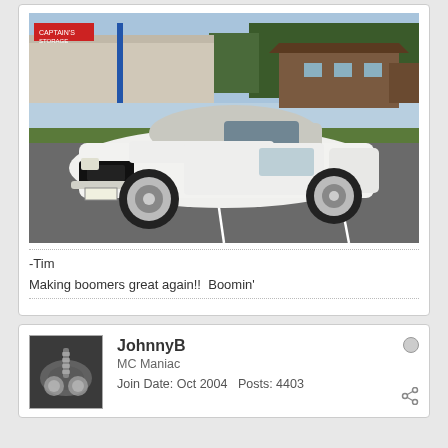[Figure (photo): White classic Chevrolet Camaro convertible parked in a parking lot, with a strip mall and trees in the background.]
-Tim
Making boomers great again!!  Boomin'
JohnnyB
MC Maniac
Join Date: Oct 2004   Posts: 4403